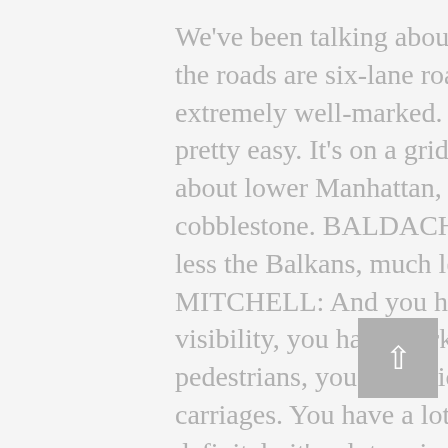We've been talking about Arizona. I lived in Arizona; the roads are six-lane roads. They're extremely wide, extremely well-marked. It's sunny 360 days a year. It's pretty easy. It's on a grid system. You're not talking about lower Manhattan, where some streets are still cobblestone. BALDACHIN: Much less London, much less the Balkans, much less Eastern Europe. MITCHELL: And you have weather, you have visibility, you have marking of lanes, you have pedestrians, you have bicyclists, you have baby carriages. You have a lot of unknowns there. So yeah, definitely it's a lot easier [in Arizona]. But with that said, it was announced last year that GM's Cruise Automation group is going to be starting testing in lower